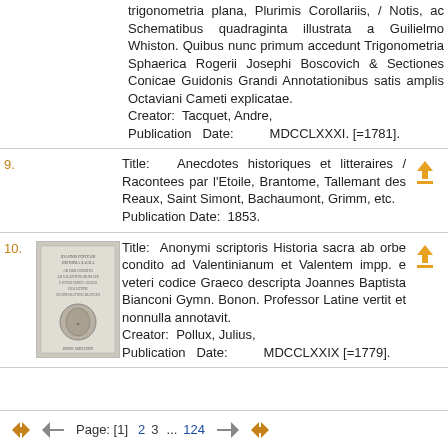trigonometria plana, Plurimis Corollariis, / Notis, ac Schematibus quadraginta illustrata a Guilielmo Whiston. Quibus nunc primum accedunt Trigonometria Sphaerica Rogerii Josephi Boscovich & Sectiones Conicae Guidonis Grandi Annotationibus satis amplis Octaviani Cameti explicatae. Creator: Tacquet, Andre, Publication Date: MDCCLXXXI. [=1781].
9. Title: Anecdotes historiques et litteraires / Racontees par l'Etoile, Brantome, Tallemant des Reaux, Saint Simont, Bachaumont, Grimm, etc. Publication Date: 1853.
[Figure (illustration): Thumbnail image of book cover: Historia Sacra]
10. Title: Anonymi scriptoris Historia sacra ab orbe condito ad Valentinianum et Valentem impp. e veteri codice Graeco descripta Joannes Baptista Bianconi Gymn. Bonon. Professor Latine vertit et nonnulla annotavit. Creator: Pollux, Julius, Publication Date: MDCCLXXIX [=1779].
Page: [1] 2 3 ...124